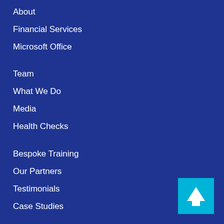About
Financial Services
Microsoft Office
Team
What We Do
Media
Health Checks
Bespoke Training
Our Partners
Testimonials
Case Studies
Pricing
News
[Figure (illustration): Cyan/teal square button with white upward arrow icon, positioned bottom-right corner]